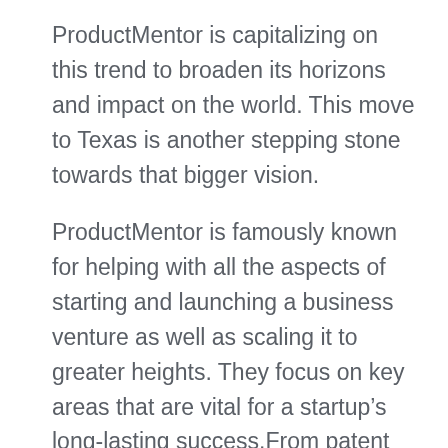ProductMentor is capitalizing on this trend to broaden its horizons and impact on the world. This move to Texas is another stepping stone towards that bigger vision.
ProductMentor is famously known for helping with all the aspects of starting and launching a business venture as well as scaling it to greater heights. They focus on key areas that are vital for a startup's long-lasting success.From patent protection, to fundraising, to app and product development, and industry connections, ProductMentor covers all the bases.